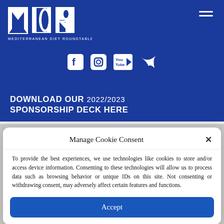[Figure (logo): MDR Mediterranean Diet Roundtable logo — white block letters MDR with illustrated figures, on dark blue background]
[Figure (infographic): Social media icons row: Facebook, Instagram, YouTube, Twitter — white icons on dark blue background]
DOWNLOAD OUR 2022/2023 SPONSORSHIP DECK HERE
Manage Cookie Consent
To provide the best experiences, we use technologies like cookies to store and/or access device information. Consenting to these technologies will allow us to process data such as browsing behavior or unique IDs on this site. Not consenting or withdrawing consent, may adversely affect certain features and functions.
Accept